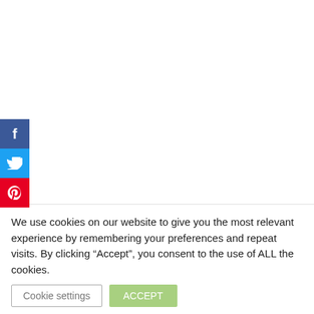[Figure (screenshot): Social media share sidebar with Facebook (blue), Twitter (cyan), and Pinterest (red) icon buttons stacked vertically on the left edge of the page]
ut in addition to being a procrastinator, apparently I'm forgetful and left him on
We use cookies on our website to give you the most relevant experience by remembering your preferences and repeat visits. By clicking “Accept”, you consent to the use of ALL the cookies.
Cookie settings   ACCEPT